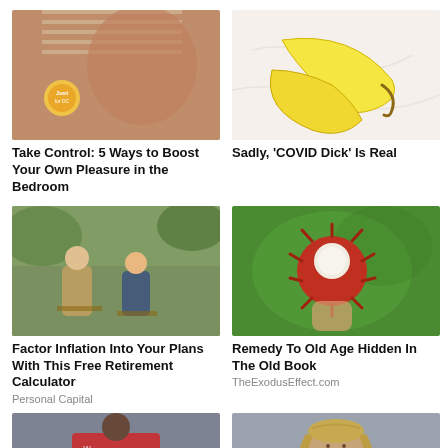[Figure (photo): Woman in bikini near window blinds with logo overlay]
Take Control: 5 Ways to Boost Your Own Pleasure in the Bedroom
[Figure (photo): Banana peels on a white marble surface]
Sadly, 'COVID Dick' Is Real
[Figure (photo): Two older and younger men sitting outdoors drinking coffee]
Factor Inflation Into Your Plans With This Free Retirement Calculator
Personal Capital
[Figure (photo): Hand holding a rambutan fruit against green background]
Remedy To Old Age Hidden In The Old Book
TheExodusEffect.com
[Figure (photo): Black football player in red Wisconsin #13 jersey]
[Figure (photo): Man with long blonde hair headshot]